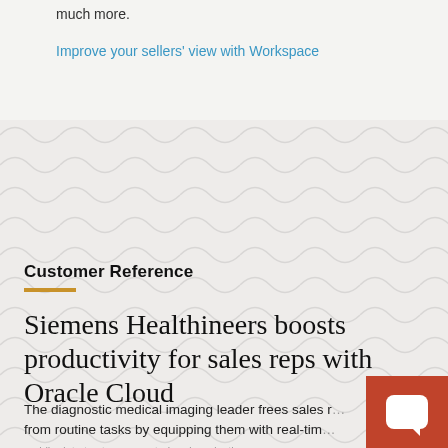much more.
Improve your sellers' view with Workspace
Customer Reference
Siemens Healthineers boosts productivity for sales reps with Oracle Cloud
The diagnostic medical imaging leader frees sales reps from routine tasks by equipping them with real-time mobile data to stay connected and productive.